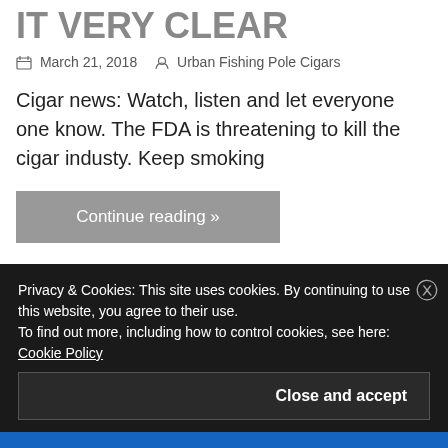IT VERY CLEAR
March 21, 2018   Urban Fishing Pole Cigars
Cigar news: Watch, listen and let everyone one know. The FDA is threatening to kill the cigar industy. Keep smoking
Continue reading »
Share this:
WhatsApp  Print  Telegram  Facebook
Privacy & Cookies: This site uses cookies. By continuing to use this website, you agree to their use.
To find out more, including how to control cookies, see here: Cookie Policy
Close and accept